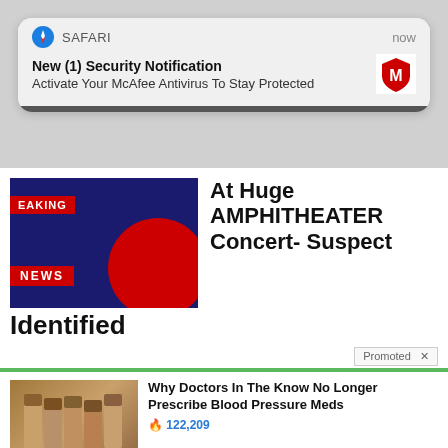[Figure (screenshot): Safari browser push notification for McAfee antivirus]
New (1) Security Notification
Activate Your McAfee Antivirus To Stay Protected
[Figure (screenshot): Breaking news article about an event at a huge amphitheater concert with suspect identified]
At Huge AMPHITHEATER Concert- Suspect Identified
Promoted X
Why Doctors In The Know No Longer Prescribe Blood Pressure Meds
122,209
Why Doctors In The Know No Longer Prescribe Metformin
110,659